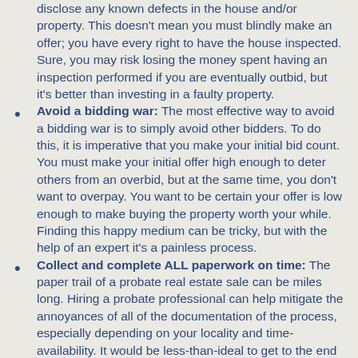disclose any known defects in the house and/or property. This doesn't mean you must blindly make an offer; you have every right to have the house inspected. Sure, you may risk losing the money spent having an inspection performed if you are eventually outbid, but it's better than investing in a faulty property.
Avoid a bidding war: The most effective way to avoid a bidding war is to simply avoid other bidders. To do this, it is imperative that you make your initial bid count. You must make your initial offer high enough to deter others from an overbid, but at the same time, you don't want to overpay. You want to be certain your offer is low enough to make buying the property worth your while. Finding this happy medium can be tricky, but with the help of an expert it's a painless process.
Collect and complete ALL paperwork on time: The paper trail of a probate real estate sale can be miles long. Hiring a probate professional can help mitigate the annoyances of all of the documentation of the process, especially depending on your locality and time-availability. It would be less-than-ideal to get to the end of the probate process only to discover that settlement is delayed because of one missing document.